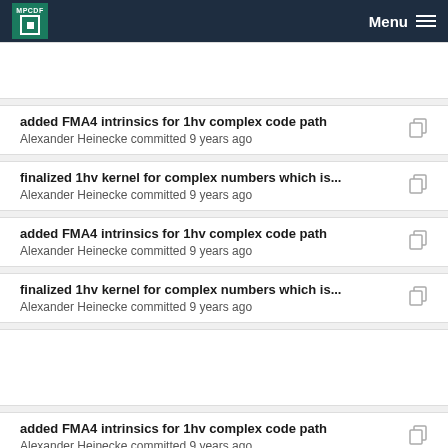MPCDF Menu
added FMA4 intrinsics for 1hv complex code path
Alexander Heinecke committed 9 years ago
finalized 1hv kernel for complex numbers which is...
Alexander Heinecke committed 9 years ago
added FMA4 intrinsics for 1hv complex code path
Alexander Heinecke committed 9 years ago
finalized 1hv kernel for complex numbers which is...
Alexander Heinecke committed 9 years ago
added FMA4 intrinsics for 1hv complex code path
Alexander Heinecke committed 9 years ago